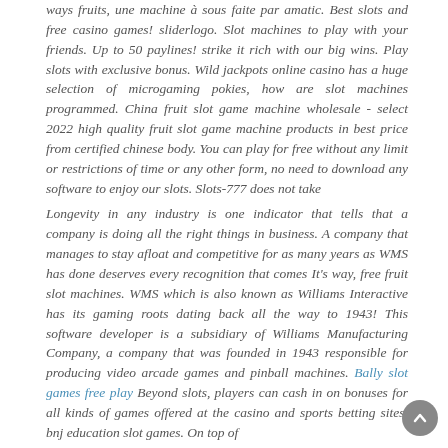ways fruits, une machine à sous faite par amatic. Best slots and free casino games! sliderlogo. Slot machines to play with your friends. Up to 50 paylines! strike it rich with our big wins. Play slots with exclusive bonus. Wild jackpots online casino has a huge selection of microgaming pokies, how are slot machines programmed. China fruit slot game machine wholesale - select 2022 high quality fruit slot game machine products in best price from certified chinese body. You can play for free without any limit or restrictions of time or any other form, no need to download any software to enjoy our slots. Slots-777 does not take
Longevity in any industry is one indicator that tells that a company is doing all the right things in business. A company that manages to stay afloat and competitive for as many years as WMS has done deserves every recognition that comes It's way, free fruit slot machines. WMS which is also known as Williams Interactive has its gaming roots dating back all the way to 1943! This software developer is a subsidiary of Williams Manufacturing Company, a company that was founded in 1943 responsible for producing video arcade games and pinball machines. Bally slot games free play Beyond slots, players can cash in on bonuses for all kinds of games offered at the casino and sports betting sites, bnj education slot games. On top of